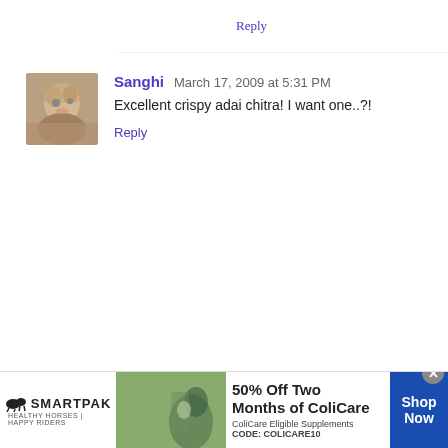Reply
[Figure (photo): Small avatar photo of user Sanghi]
Sanghi March 17, 2009 at 5:31 PM
Excellent crispy adai chitra! I want one..?!
Reply
[Figure (infographic): SmartPak advertisement banner: 50% Off Two Months of ColiCare, ColiCare Eligible Supplements, CODE: COLICARE10, Shop Now]